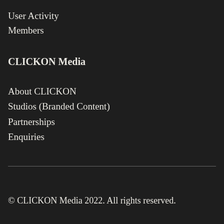User Activity
Members
CLICKON Media
About CLICKON
Studios (Branded Content)
Partnerships
Enquiries
© CLICKON Media 2022. All rights reserved.